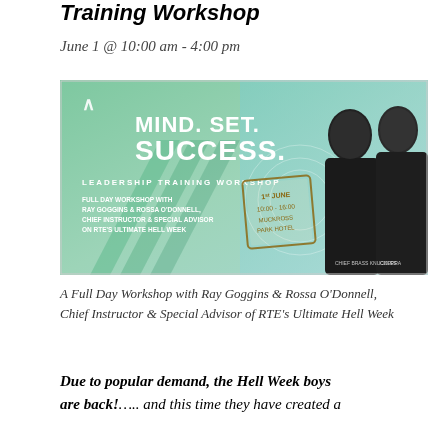Training Workshop
June 1 @ 10:00 am - 4:00 pm
[Figure (illustration): Mind. Set. Success. Leadership Training Workshop banner with photos of Ray Goggins and Rossa O'Donnell. Text reads: Full Day Workshop with Ray Goggins & Rossa O'Donnell, Chief Instructor & Special Advisor on RTE's Ultimate Hell Week. Date stamp: 1st June 10:00-16:00 Muckross Park Hotel.]
A Full Day Workshop with Ray Goggins & Rossa O'Donnell, Chief Instructor & Special Advisor of RTE's Ultimate Hell Week
Due to popular demand, the Hell Week boys are back!..... and this time they have created a